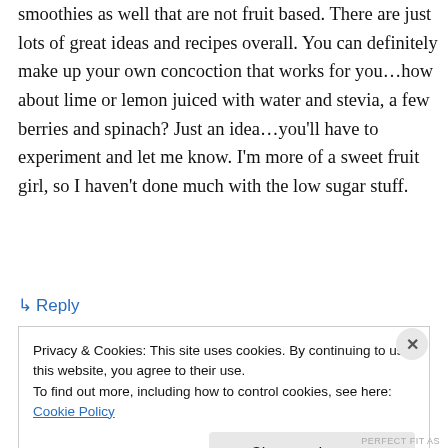smoothies as well that are not fruit based. There are just lots of great ideas and recipes overall. You can definitely make up your own concoction that works for you…how about lime or lemon juiced with water and stevia, a few berries and spinach? Just an idea…you'll have to experiment and let me know. I'm more of a sweet fruit girl, so I haven't done much with the low sugar stuff.
↳ Reply
Privacy & Cookies: This site uses cookies. By continuing to use this website, you agree to their use.
To find out more, including how to control cookies, see here: Cookie Policy
Close and accept
PERFECT FIT AS